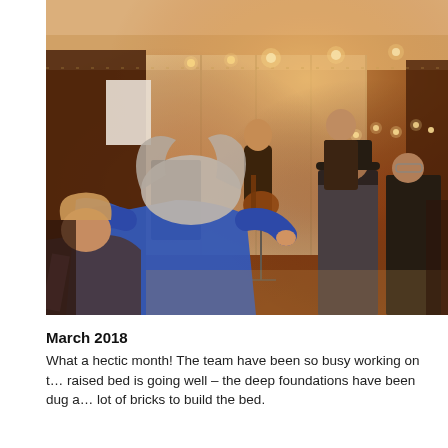[Figure (photo): Indoor music event or concert in a warmly lit room. People are watching a band perform on a small stage. A woman in a blue top sits with her back to the camera, a person in a black hat stands to the right, and musicians including a guitarist are visible on stage. Fairy lights are strung along the ceiling/wall.]
March 2018
What a hectic month! The team have been so busy working on t… raised bed is going well – the deep foundations have been dug a… lot of bricks to build the bed.